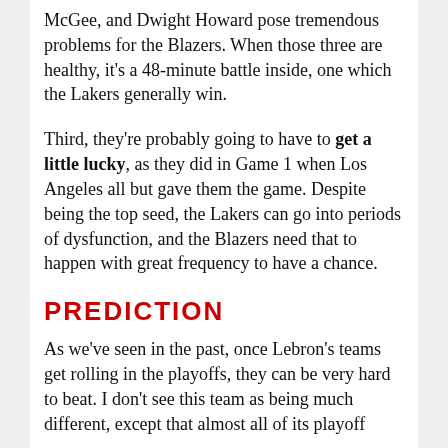McGee, and Dwight Howard pose tremendous problems for the Blazers. When those three are healthy, it's a 48-minute battle inside, one which the Lakers generally win.
Third, they're probably going to have to get a little lucky, as they did in Game 1 when Los Angeles all but gave them the game. Despite being the top seed, the Lakers can go into periods of dysfunction, and the Blazers need that to happen with great frequency to have a chance.
PREDICTION
As we've seen in the past, once Lebron's teams get rolling in the playoffs, they can be very hard to beat. I don't see this team as being much different, except that almost all of its playoff